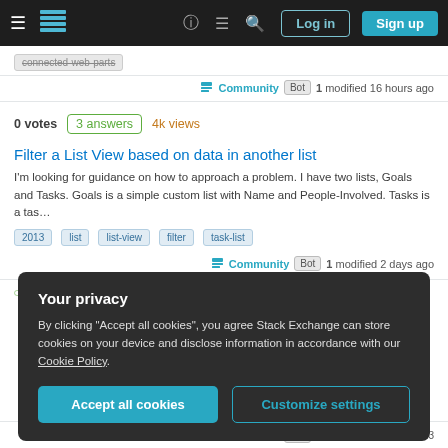Stack Exchange navigation bar with Log in and Sign up buttons
connected-web-parts
Community Bot 1 modified 16 hours ago
0 votes  3 answers  4k views
Filter a List View based on data in another list
I'm looking for guidance on how to approach a problem. I have two lists, Goals and Tasks. Goals is a simple custom list with Name and People-Involved. Tasks is a tas...
2013
list
list-view
filter
task-list
Community Bot 1 modified 2 days ago
Your privacy
By clicking "Accept all cookies", you agree Stack Exchange can store cookies on your device and disclose information in accordance with our Cookie Policy.
Accept all cookies
Customize settings
Community Bot 1 modified Aug 26 at 18:03